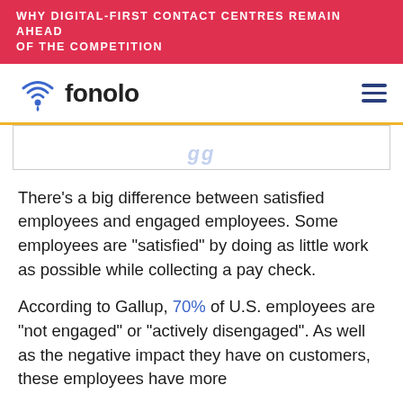WHY DIGITAL-FIRST CONTACT CENTRES REMAIN AHEAD OF THE COMPETITION
[Figure (logo): Fonolo logo with wifi/location pin icon and the word 'fonolo' in dark text, plus a hamburger menu icon on the right]
[Figure (screenshot): Partial image/screenshot visible at bottom of nav area, mostly cropped, showing faint italic text]
There’s a big difference between satisfied employees and engaged employees. Some employees are “satisfied” by doing as little work as possible while collecting a pay check.
According to Gallup, 70% of U.S. employees are “not engaged” or “actively disengaged”. As well as the negative impact they have on customers, these employees have more